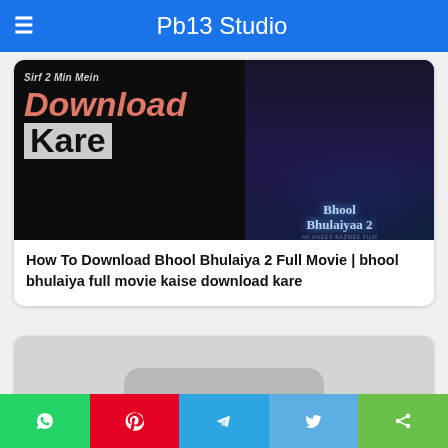Pb13 Studio
[Figure (screenshot): Promotional image for Bhool Bhulaiya 2 movie download tutorial with text 'Sirf 2 Min Mein Download Kare' on dark background and movie poster]
How To Download Bhool Bhulaiya 2 Full Movie | bhool bhulaiya full movie kaise download kare
[Figure (screenshot): Partial grey card with a rounded rectangle shape at the bottom, second article preview]
Social share buttons: WhatsApp, Pinterest, Telegram, Twitter, Share